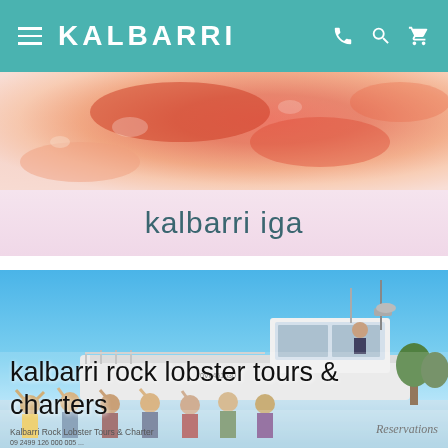KALBARRI
[Figure (photo): Close-up photo of a red rock lobster]
kalbarri iga
[Figure (photo): A white charter boat with people aboard against a clear blue sky, crowd in foreground]
kalbarri rock lobster tours & charters